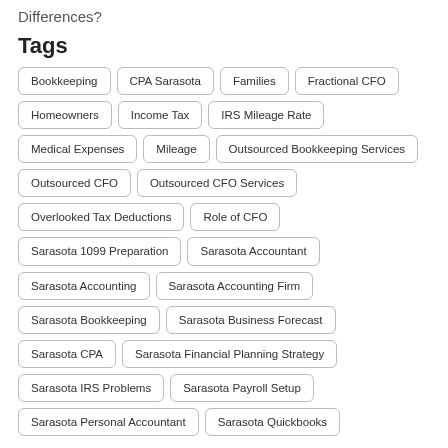Differences?
Tags
Bookkeeping
CPA Sarasota
Families
Fractional CFO
Homeowners
Income Tax
IRS Mileage Rate
Medical Expenses
Mileage
Outsourced Bookkeeping Services
Outsourced CFO
Outsourced CFO Services
Overlooked Tax Deductions
Role of CFO
Sarasota 1099 Preparation
Sarasota Accountant
Sarasota Accounting
Sarasota Accounting Firm
Sarasota Bookkeeping
Sarasota Business Forecast
Sarasota CPA
Sarasota Financial Planning Strategy
Sarasota IRS Problems
Sarasota Payroll Setup
Sarasota Personal Accountant
Sarasota Quickbooks